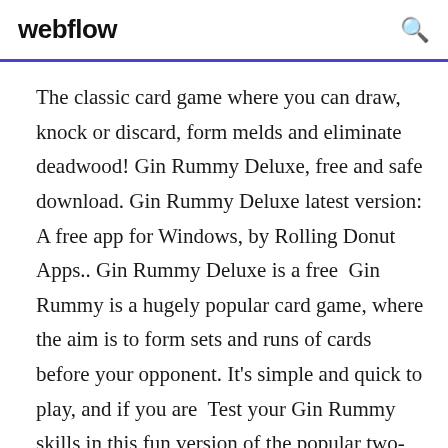webflow
The classic card game where you can draw, knock or discard, form melds and eliminate deadwood! Gin Rummy Deluxe, free and safe download. Gin Rummy Deluxe latest version: A free app for Windows, by Rolling Donut Apps.. Gin Rummy Deluxe is a free  Gin Rummy is a hugely popular card game, where the aim is to form sets and runs of cards before your opponent. It's simple and quick to play, and if you are  Test your Gin Rummy skills in this fun version of the popular two-player card game! Choose between different opponents, each with a different playing style,  Gin Rummy Pro!, free and safe download. Gin Rummy Pro! latest